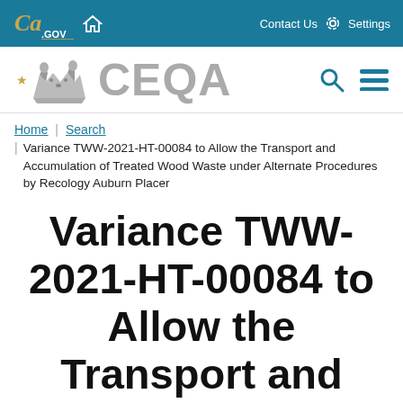CA.GOV | Home | Contact Us | Settings
[Figure (logo): CEQA California state website header with bear logo, search icon, and hamburger menu]
Home | Search | Variance TWW-2021-HT-00084 to Allow the Transport and Accumulation of Treated Wood Waste under Alternate Procedures by Recology Auburn Placer
Variance TWW-2021-HT-00084 to Allow the Transport and